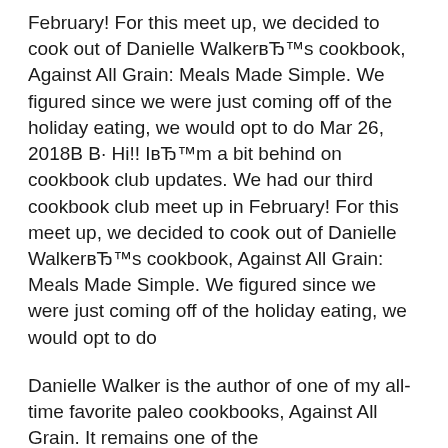February! For this meet up, we decided to cook out of Danielle WalkerвЂ™s cookbook, Against All Grain: Meals Made Simple. We figured since we were just coming off of the holiday eating, we would opt to do Mar 26, 2018В В· Hi!! IвЂ™m a bit behind on cookbook club updates. We had our third cookbook club meet up in February! For this meet up, we decided to cook out of Danielle WalkerвЂ™s cookbook, Against All Grain: Meals Made Simple. We figured since we were just coming off of the holiday eating, we would opt to do
Danielle Walker is the author of one of my all-time favorite paleo cookbooks, Against All Grain. It remains one of the